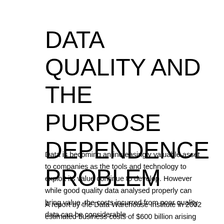DATA QUALITY AND THE PURPOSE DEPENDENCE PROBLEM
Data is becoming an increasingly valuable asset to companies as the tools and technology to exploit its value continue to develop. However while good quality data analysed properly can bring value, the costs incurred from poor quality data can be considerable.
A report by the Data Warehouse Institute in 2002 estimated business costs of $600 billion arising